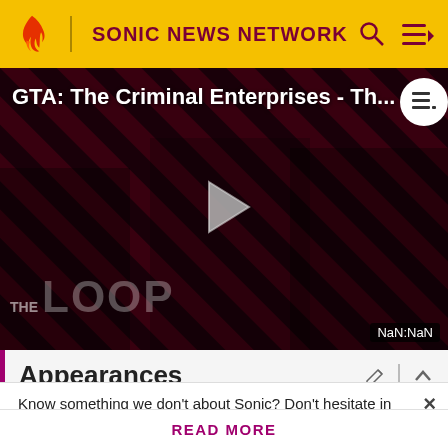SONIC NEWS NETWORK
[Figure (screenshot): Video thumbnail for 'GTA: The Criminal Enterprises - Th...' showing characters on a diagonal striped red and black background with THE LOOP watermark and a play button. Duration shows NaN:NaN.]
GTA: The Criminal Enterprises - Th...
Appearances
Know something we don't about Sonic? Don't hesitate in signing up today! It's fast, free, and easy, and you will get a
READ MORE